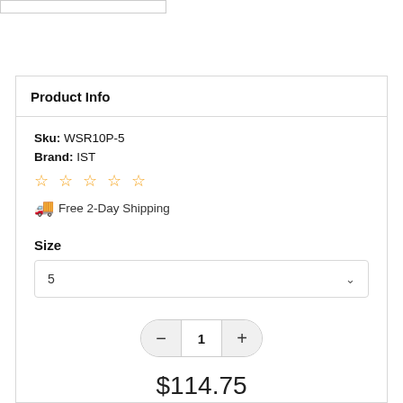[Figure (photo): Partial product image stub at top left, cropped at page edge]
Product Info
Sku: WSR10P-5
Brand: IST
☆☆☆☆☆ (5 empty stars)
🚚 Free 2-Day Shipping
Size
5 (dropdown)
1 (quantity control)
$114.75
Add to Cart